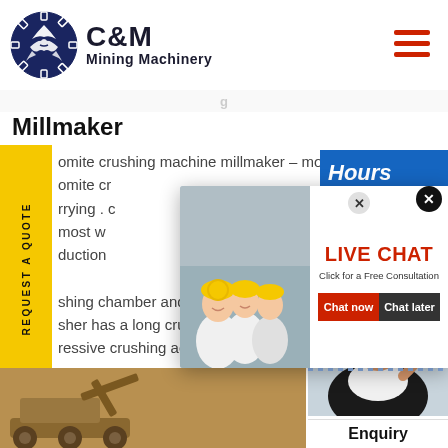[Figure (logo): C&M Mining Machinery logo with eagle in gear circle, dark navy blue]
Millmaker
omite crushing machine millmaker – mobile omite cr...rrying. c... most w... duction... shing chamber and large gape sher has a long crushing chamb... ressive crushing action to
[Figure (screenshot): Live Chat popup with construction workers photo, LIVE CHAT headline in red, Click for a Free Consultation, Chat now and Chat later buttons]
[Figure (photo): Customer service woman with headset on right side]
Click to Chat
Enquiry